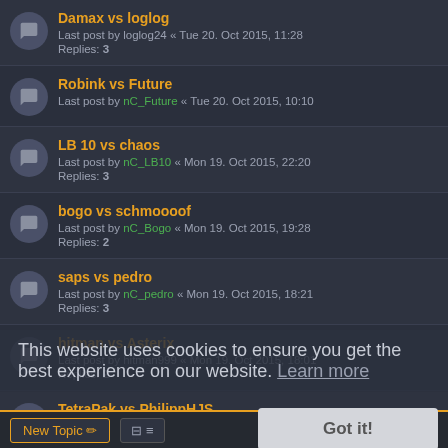Damax vs loglog
Last post by loglog24 « Tue 20. Oct 2015, 11:28
Replies: 3
Robink vs Future
Last post by nC_Future « Tue 20. Oct 2015, 10:10
LB 10 vs chaos
Last post by nC_LB10 « Mon 19. Oct 2015, 22:20
Replies: 3
bogo vs schmoooof
Last post by nC_Bogo « Mon 19. Oct 2015, 19:28
Replies: 2
saps vs pedro
Last post by nC_pedro « Mon 19. Oct 2015, 18:21
Replies: 3
hitman vs Asterix
Last post by hitman999 « Mon 19. Oct 2015, 18:01
Replies: 2
TetraPak vs PhilippHJS
Last post by nC_PhilippHJS « Mon 19. Oct 2015, 11:48
Replies: 2
JaySquared vs CoolRook
Last post by nC_JaySquared « Mon 19. Oct 2015, 10:24
Replies: 2
This website uses cookies to ensure you get the best experience on our website. Learn more
Got it!